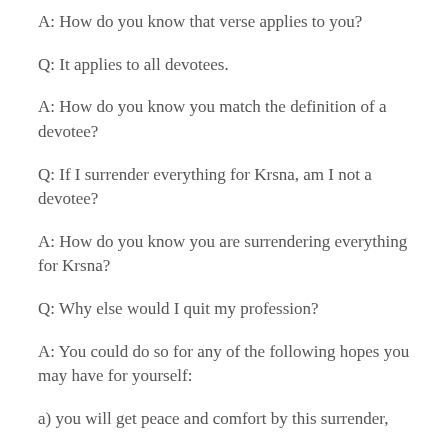A: How do you know that verse applies to you?
Q: It applies to all devotees.
A: How do you know you match the definition of a devotee?
Q: If I surrender everything for Krsna, am I not a devotee?
A: How do you know you are surrendering everything for Krsna?
Q: Why else would I quit my profession?
A: You could do so for any of the following hopes you may have for yourself:
a) you will get peace and comfort by this surrender,